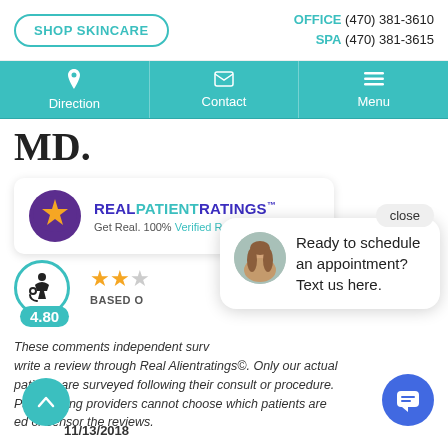SHOP SKINCARE | OFFICE (470) 381-3610 | SPA (470) 381-3615
Direction | Contact | Menu
MD.
[Figure (logo): Real Patient Ratings logo with purple circle, gold star, and text: REALPATIENTRATINGS™ — Get Real. 100% Verified Reviews™]
4.80
BASED O...
These comments... independent surv... write a review through Real Alientratings©. Only our actual patients are surveyed following their consult or procedure. Participating providers cannot choose which patients are... or censor the reviews.
Ready to schedule an appointment? Text us here.
close
11/13/2018